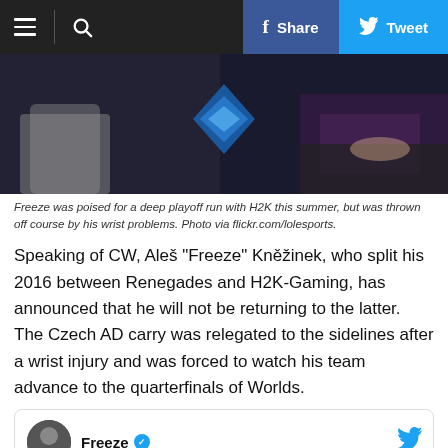Navigation bar with hamburger menu, search, Share (Facebook), Tweet (Twitter) buttons
[Figure (photo): Dark photo of esports player with glowing blue diamond logo in background]
Freeze was poised for a deep playoff run with H2K this summer, but was thrown off course by his wrist problems. Photo via flickr.com/lolesports.
Speaking of CW, Aleš "Freeze" Kněžinek, who split his 2016 between Renegades and H2K-Gaming, has announced that he will not be returning to the latter. The Czech AD carry was relegated to the sidelines after a wrist injury and was forced to watch his team advance to the quarterfinals of Worlds.
[Figure (screenshot): Tweet embed from Freeze with verified checkmark, Twitter bird icon, and a BitLife advertisement overlay showing NOW WITH GOD MODE]
I am...oys